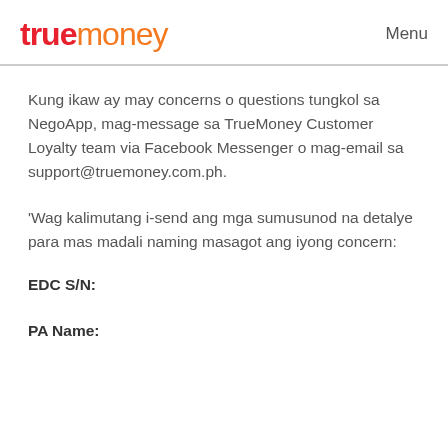truemoney  Menu
Kung ikaw ay may concerns o questions tungkol sa NegoApp, mag-message sa TrueMoney Customer Loyalty team via Facebook Messenger o mag-email sa support@truemoney.com.ph.
'Wag kalimutang i-send ang mga sumusunod na detalye para mas madali naming masagot ang iyong concern:
EDC S/N:
PA Name: